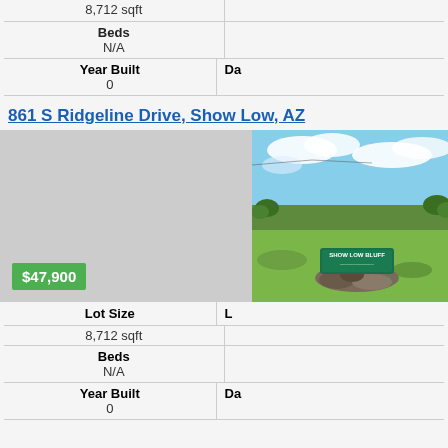| Field | Value |
| --- | --- |
| Lot Size | 8,712 sqft |
| Beds | N/A |
| Year Built | 0 |
861 S Ridgeline Drive, Show Low, AZ
[Figure (photo): Real estate listing photo showing Show Low Bluff sign with green meadow landscape and cloudy sky. Price badge shows $47,900.]
| Field | Value |
| --- | --- |
| Lot Size | 8,712 sqft |
| Beds | N/A |
| Year Built | 0 |